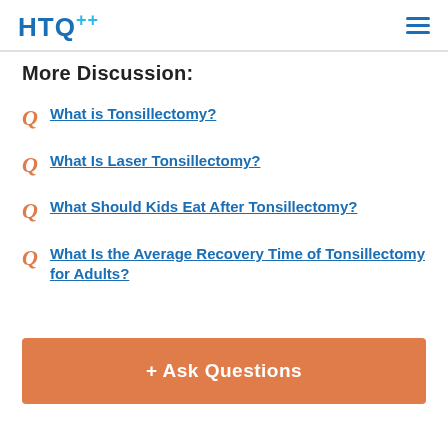HTQ
More Discussion:
What is Tonsillectomy?
What Is Laser Tonsillectomy?
What Should Kids Eat After Tonsillectomy?
What Is the Average Recovery Time of Tonsillectomy for Adults?
+ Ask Questions